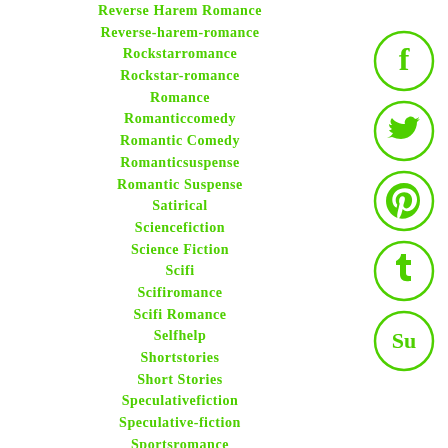Reverse Harem Romance
Reverse-harem-romance
Rockstarromance
Rockstar-romance
Romance
Romanticcomedy
Romantic Comedy
Romanticsuspense
Romantic Suspense
Satirical
Sciencefiction
Science Fiction
Scifi
Scifiromance
Scifi Romance
Selfhelp
Shortstories
Short Stories
Speculativefiction
Speculative-fiction
Sportsromance
Steampunk
[Figure (infographic): Social media icons in green circles: Facebook, Twitter, Pinterest, Tumblr, StumbleUpon]